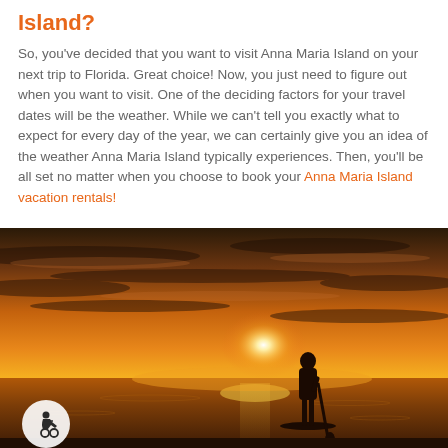Island?
So, you've decided that you want to visit Anna Maria Island on your next trip to Florida. Great choice! Now, you just need to figure out when you want to visit. One of the deciding factors for your travel dates will be the weather. While we can't tell you exactly what to expect for every day of the year, we can certainly give you an idea of the weather Anna Maria Island typically experiences. Then, you'll be all set no matter when you choose to book your Anna Maria Island vacation rentals!
[Figure (photo): Silhouette of a person stand-up paddleboarding on calm water against a vivid orange and yellow sunset sky, with accessibility icon overlay in bottom left corner.]